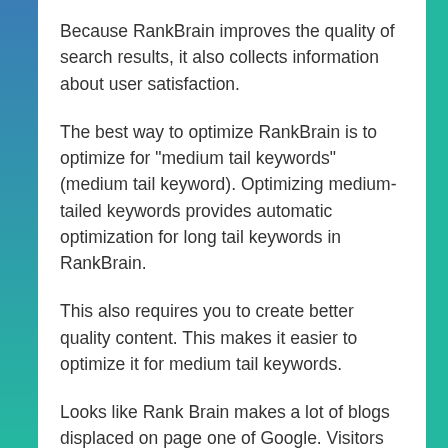Because RankBrain improves the quality of search results, it also collects information about user satisfaction.
The best way to optimize RankBrain is to optimize for "medium tail keywords" (medium tail keyword). Optimizing medium-tailed keywords provides automatic optimization for long tail keywords in RankBrain.
This also requires you to create better quality content. This makes it easier to optimize it for medium tail keywords.
Looks like Rank Brain makes a lot of blogs displaced on page one of Google. Visitors also declined. However, quality, deep, and useful content will always be a winner. Just